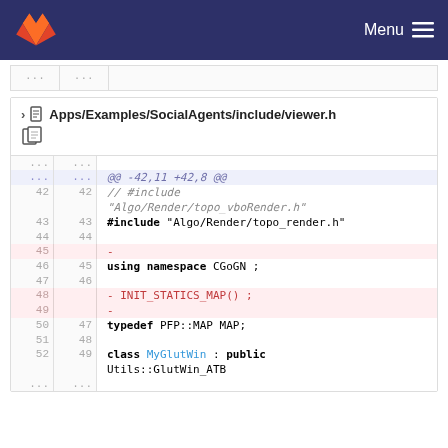Menu
[Figure (screenshot): GitLab diff view showing Apps/Examples/SocialAgents/include/viewer.h with code diff around lines 42-52]
Apps/Examples/SocialAgents/include/viewer.h
| old | new | code |
| --- | --- | --- |
| ... | ... |  |
| ... | ... | @@ -42,11 +42,8 @@ |
| 42 | 42 | // #include "Algo/Render/topo_vboRender.h" |
| 43 | 43 | #include "Algo/Render/topo_render.h" |
| 44 | 44 |  |
| 45 |  | - |
| 46 | 45 | using namespace CGoGN ; |
| 47 | 46 |  |
| 48 |  | - INIT_STATICS_MAP() ; |
| 49 |  | - |
| 50 | 47 | typedef PFP::MAP MAP; |
| 51 | 48 |  |
| 52 | 49 | class MyGlutWin : public Utils::GlutWin_ATB |
| ... | ... |  |